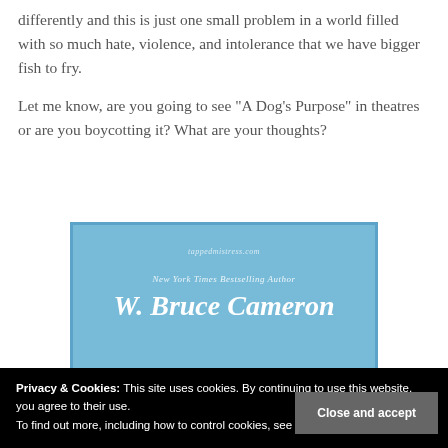differently and this is just one small problem in a world filled with so much hate, violence, and intolerance that we have bigger fish to fry.
Let me know, are you going to see "A Dog's Purpose" in theatres or are you boycotting it? What are your thoughts?
[Figure (illustration): Book cover of 'A Dog's Purpose' by W. Bruce Cameron, New York Times Bestselling Author. Blue cover showing the author name in italic white text. Partial title 'Purpose' visible at bottom in red.]
Privacy & Cookies: This site uses cookies. By continuing to use this website, you agree to their use.
To find out more, including how to control cookies, see here: Our Cookie Policy